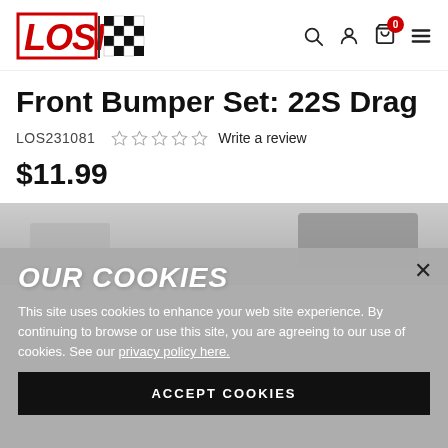[Figure (logo): Losi brand logo with checkered flag pattern]
Front Bumper Set: 22S Drag
LOS231081
☆☆☆☆☆ Write a review
$11.99
[Figure (photo): Product image area (blurred/obscured by cookie overlay)]
OUR COOKIES
This site uses cookies to enhance your web site experience. By continuing to browse or use this site, you are agreeing to our use of cookies. See our privacy policy here.
ACCEPT COOKIES